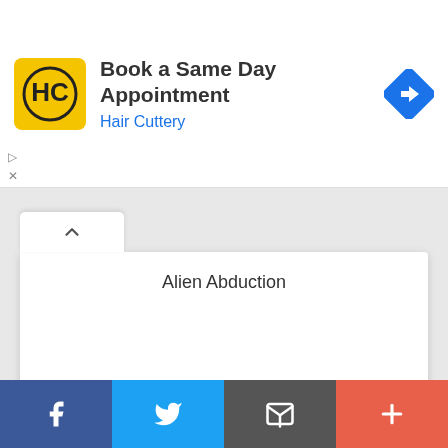[Figure (screenshot): Advertisement banner for Hair Cuttery with logo, title 'Book a Same Day Appointment', subtitle 'Hair Cuttery', navigation icon, and ad controls]
Alien Abduction
[Figure (screenshot): Empty white card/content area]
[Figure (screenshot): Bottom social share bar with Facebook, Twitter, Email, and More buttons]